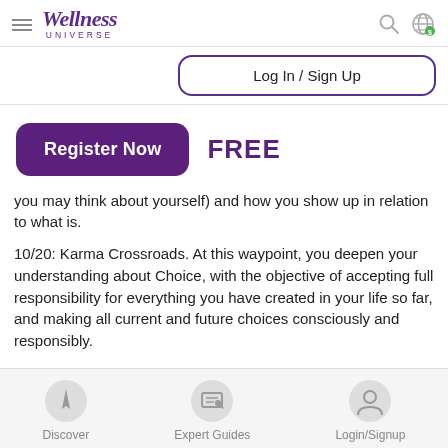Wellness Universe
Log In / Sign Up
[Figure (other): Register Now button (purple rounded rectangle) followed by FREE text in bold purple]
you may think about yourself) and how you show up in relation to what is.

10/20: Karma Crossroads. At this waypoint, you deepen your understanding about Choice, with the objective of accepting full responsibility for everything you have created in your life so far, and making all current and future choices consciously and responsibly.
Discover | Expert Guides | Login/Signup